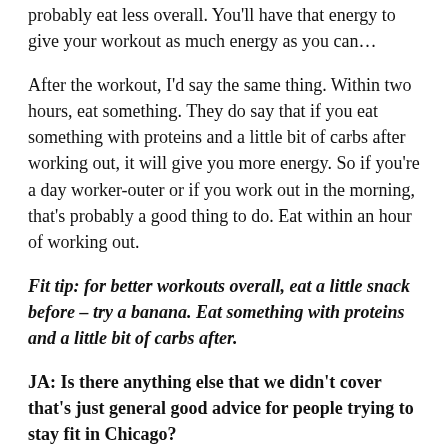probably eat less overall. You'll have that energy to give your workout as much energy as you can…
After the workout, I'd say the same thing. Within two hours, eat something. They do say that if you eat something with proteins and a little bit of carbs after working out, it will give you more energy. So if you're a day worker-outer or if you work out in the morning, that's probably a good thing to do. Eat within an hour of working out.
Fit tip: for better workouts overall, eat a little snack before – try a banana. Eat something with proteins and a little bit of carbs after.
JA: Is there anything else that we didn't cover that's just general good advice for people trying to stay fit in Chicago?